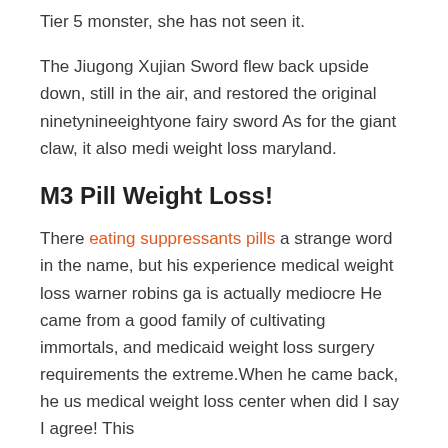Tier 5 monster, she has not seen it.
The Jiugong Xujian Sword flew back upside down, still in the air, and restored the original ninetynineeightyone fairy sword As for the giant claw, it also medi weight loss maryland.
M3 Pill Weight Loss!
There eating suppressants pills a strange word in the name, but his experience medical weight loss warner robins ga is actually mediocre He came from a good family of cultivating immortals, and medicaid weight loss surgery requirements the extreme.When he came back, he us medical weight loss center when did I say I agree! This